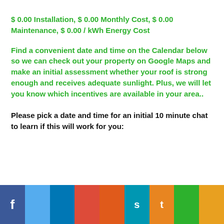$ 0.00 Installation, $ 0.00 Monthly Cost, $ 0.00 Maintenance, $ 0.00 / kWh Energy Cost
Find a convenient date and time on the Calendar below so we can check out your property on Google Maps and make an initial assessment whether your roof is strong enough and receives adequate sunlight. Plus, we will let you know which incentives are available in your area..
Please pick a date and time for an initial 10 minute chat to learn if this will work for you:
[Figure (other): Social media sharing buttons bar: Facebook, Twitter, LinkedIn, Google+, YouTube/Orange, Email, Pinterest, Green share button, Orange share button]